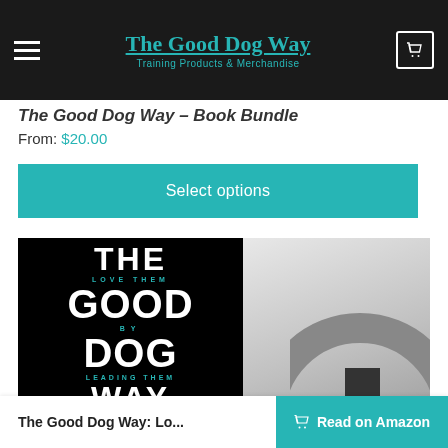The Good Dog Way — Training Products & Merchandise
The Good Dog Way – Book Bundle
From: $20.00
Select options
[Figure (photo): Book cover of The Good Dog Way on black background with white bold text reading THE GOOD DOG WAY with teal accent text LOVE THEM BY LEADING THEM. Second image shows a partial grey/white book cover.]
The Good Dog Way: Lo...
Read on Amazon